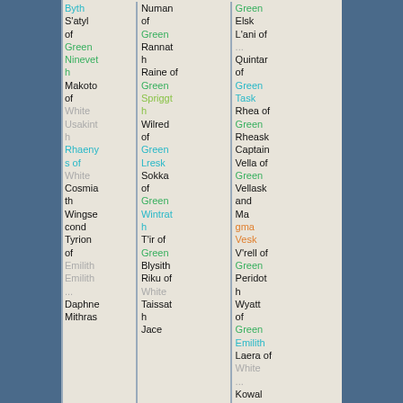Byth S'atyl of Green Nineveth Makoto of White Usakinth Rhaenys of White Cosmia th Wingsecond Tyrion of Emilith Daphne Mithras
Numan of Green Rannath Raine of Green Spriggth Wilred of Green Lresk Sokka of Green Wintrath T'ir of Green Blysith Riku of White Taissath Jace
Green Elsk L'ani of Quintar of Green Task Rhea of Green Rheask Captain Vella of Green Vellask and Magma Vesk V'rell of Green Peridoth Wyatt of Green Emilith Laera of White Kowal of White Kowals k Pasca of